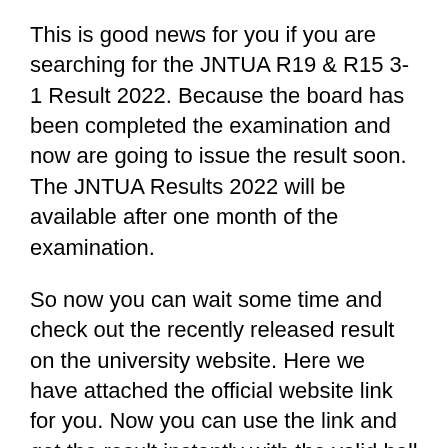This is good news for you if you are searching for the JNTUA R19 & R15 3-1 Result 2022. Because the board has been completed the examination and now are going to issue the result soon. The JNTUA Results 2022 will be available after one month of the examination.
So now you can wait some time and check out the recently released result on the university website. Here we have attached the official website link for you. Now you can use the link and get the result instantly with the valid hall ticket number. Without a hall ticket number, no one candidates will be able to get the JNTU R19/R19 3-1 Result 2022.